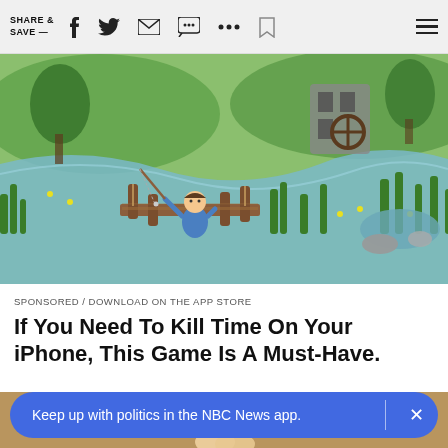SHARE & SAVE —
[Figure (screenshot): Animated mobile game screenshot showing a cartoon character fishing on a wooden dock in a colorful 3D game world with water, grass, flowers, and buildings in the background]
SPONSORED / DOWNLOAD ON THE APP STORE
If You Need To Kill Time On Your iPhone, This Game Is A Must-Have.
[Figure (photo): Partial photo showing a light bulb being held against a neutral background]
Keep up with politics in the NBC News app.